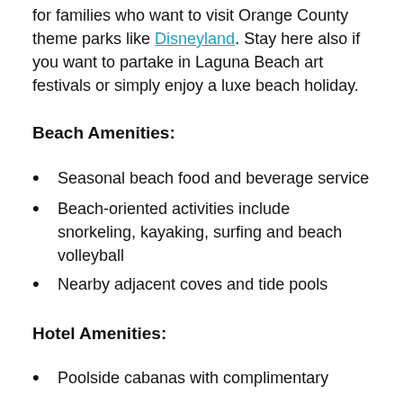for families who want to visit Orange County theme parks like Disneyland. Stay here also if you want to partake in Laguna Beach art festivals or simply enjoy a luxe beach holiday.
Beach Amenities:
Seasonal beach food and beverage service
Beach-oriented activities include snorkeling, kayaking, surfing and beach volleyball
Nearby adjacent coves and tide pools
Hotel Amenities:
Poolside cabanas with complimentary